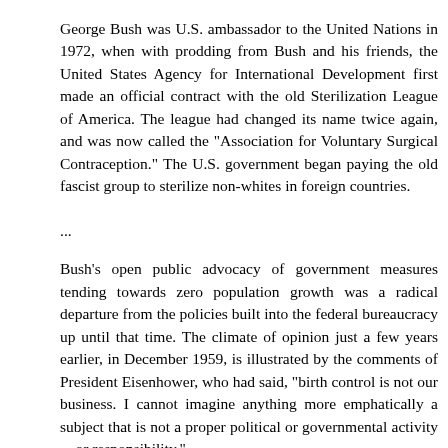George Bush was U.S. ambassador to the United Nations in 1972, when with prodding from Bush and his friends, the United States Agency for International Development first made an official contract with the old Sterilization League of America. The league had changed its name twice again, and was now called the "Association for Voluntary Surgical Contraception." The U.S. government began paying the old fascist group to sterilize non-whites in foreign countries.
...
Bush's open public advocacy of government measures tending towards zero population growth was a radical departure from the policies built into the federal bureaucracy up until that time. The climate of opinion just a few years earlier, in December 1959, is illustrated by the comments of President Eisenhower, who had said, "birth control is not our business. I cannot imagine anything more emphatically a subject that is not a proper political or governmental activity ... or responsibility."
As a congressman, Bush played an absolutely pivotal role...